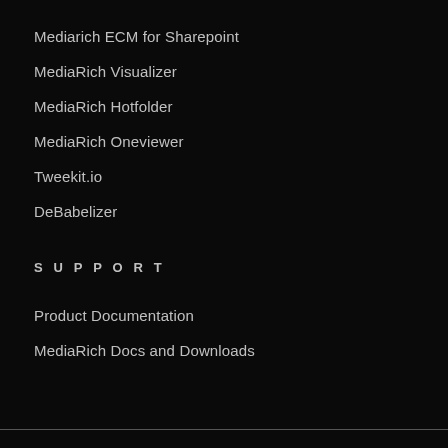Mediarich ECM for Sharepoint
MediaRich Visualizer
MediaRich Hotfolder
MediaRich Oneviewer
Tweekit.io
DeBabelizer
SUPPORT
Product Documentation
MediaRich Docs and Downloads